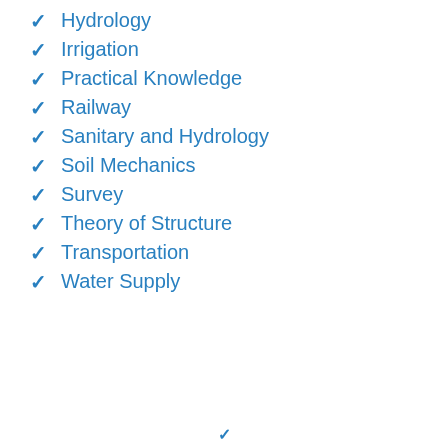Hydrology
Irrigation
Practical Knowledge
Railway
Sanitary and Hydrology
Soil Mechanics
Survey
Theory of Structure
Transportation
Water Supply
✓